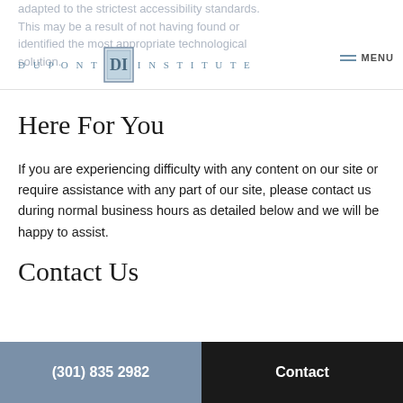adapted to the strictest accessibility standards. This may be a result of not having found or identified the most appropriate technological solution.
[Figure (logo): DuPont Institute logo with stylized 'DI' monogram in a square frame, flanked by 'DUPONT' and 'INSTITUTE' text in spaced letters]
Here For You
If you are experiencing difficulty with any content on our site or require assistance with any part of our site, please contact us during normal business hours as detailed below and we will be happy to assist.
Contact Us
(301) 835 2982  Contact